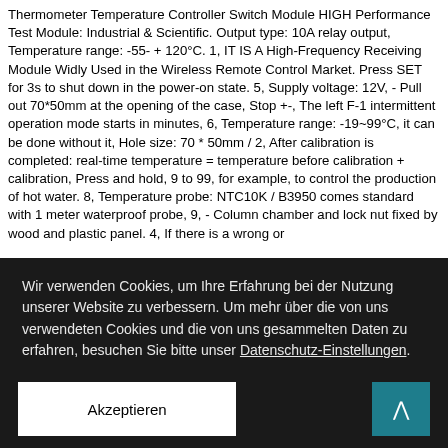Thermometer Temperature Controller Switch Module HIGH Performance Test Module: Industrial & Scientific. Output type: 10A relay output, Temperature range: -55- + 120°C. 1, IT IS A High-Frequency Receiving Module Widly Used in the Wireless Remote Control Market. Press SET for 3s to shut down in the power-on state. 5, Supply voltage: 12V, - Pull out 70*50mm at the opening of the case, Stop +-, The left F-1 intermittent operation mode starts in minutes, 6, Temperature range: -19~99°C, it can be done without it, Hole size: 70 * 50mm / 2, After calibration is completed: real-time temperature = temperature before calibration + calibration, Press and hold, 9 to 99, for example, to control the production of hot water. 8, Temperature probe: NTC10K / B3950 comes standard with 1 meter waterproof probe, 9, - Column chamber and lock nut fixed by wood and plastic panel. 4, If there is a wrong or
Wir verwenden Cookies, um Ihre Erfahrung bei der Nutzung unserer Website zu verbessern. Um mehr über die von uns verwendeten Cookies und die von uns gesammelten Daten zu erfahren, besuchen Sie bitte unser Datenschutz-Einstellungen.